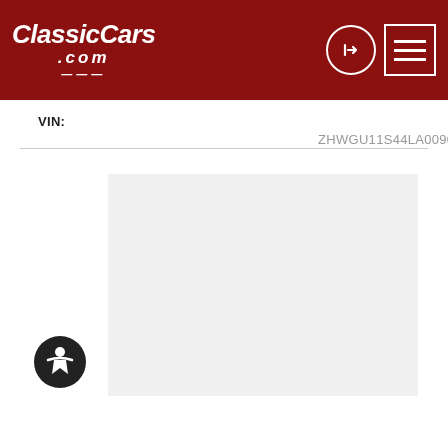ClassicCars.com
VIN: ZHWGU11S44LA00901
[Figure (photo): Empty image placeholder (light gray rectangle) for a classic car listing photo]